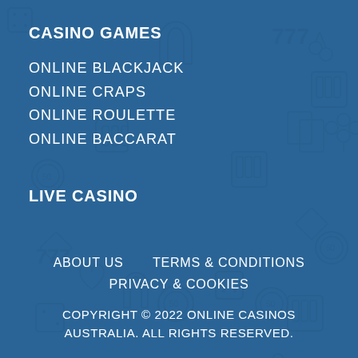CASINO GAMES
ONLINE BLACKJACK
ONLINE CRAPS
ONLINE ROULETTE
ONLINE BACCARAT
LIVE CASINO
ABOUT US    TERMS & CONDITIONS
PRIVACY & COOKIES
COPYRIGHT © 2022 ONLINE CASINOS AUSTRALIA. ALL RIGHTS RESERVED.